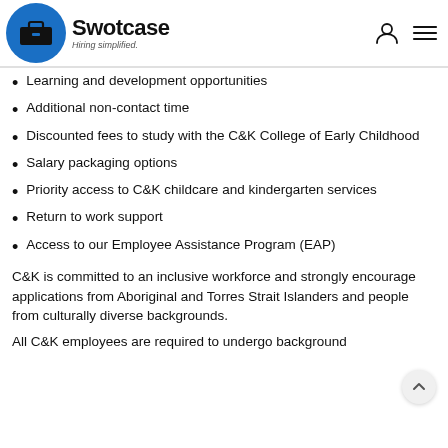Swotcase — Hiring simplified.
Learning and development opportunities
Additional non-contact time
Discounted fees to study with the C&K College of Early Childhood
Salary packaging options
Priority access to C&K childcare and kindergarten services
Return to work support
Access to our Employee Assistance Program (EAP)
C&K is committed to an inclusive workforce and strongly encourage applications from Aboriginal and Torres Strait Islanders and people from culturally diverse backgrounds.
All C&K employees are required to undergo background